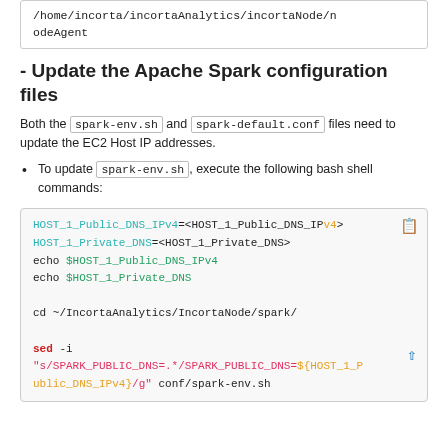/home/incorta/incortaAnalytics/incortaNode/nodeAgent
- Update the Apache Spark configuration files
Both the spark-env.sh and spark-default.conf files need to update the EC2 Host IP addresses.
To update spark-env.sh , execute the following bash shell commands:
[Figure (screenshot): Code block showing bash commands: HOST_1_Public_DNS_IPv4=<HOST_1_Public_DNS_IPv4>, HOST_1_Private_DNS=<HOST_1_Private_DNS>, echo $HOST_1_Public_DNS_IPv4, echo $HOST_1_Private_DNS, cd ~/IncortaAnalytics/IncortaNode/spark/, sed -i "s/SPARK_PUBLIC_DNS=.*/SPARK_PUBLIC_DNS=${HOST_1_Public_DNS_IPv4}/g" conf/spark-env.sh]